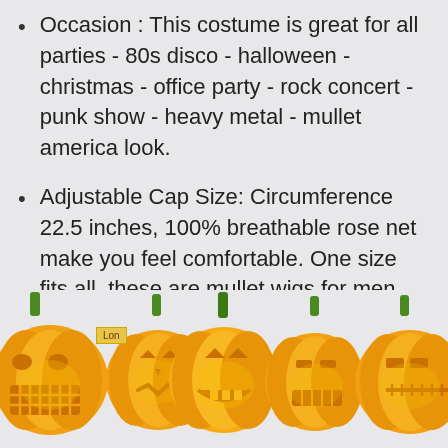Occasion : This costume is great for all parties - 80s disco - halloween - christmas - office party - rock concert - punk show - heavy metal - mullet america look.
Adjustable Cap Size: Circumference 22.5 inches, 100% breathable rose net make you feel comfortable. One size fits all, these are mullet wigs for men, women of all ages!
[Figure (illustration): A row of five orange jack-o-lantern pumpkins with green stems and various carved faces, displayed at the bottom of the page on a light gray background.]